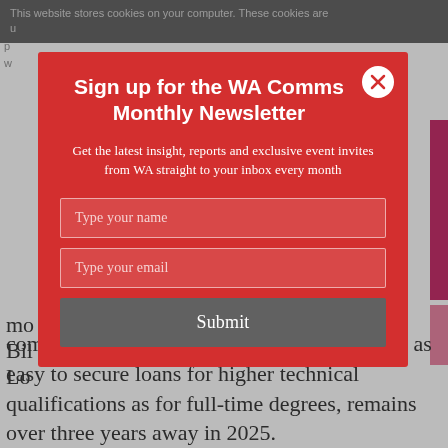This website stores cookies on your computer. These cookies are u... p... w...
commitment and one that aims to make it just as easy to secure loans for higher technical qualifications as for full-time degrees, remains over three years away in 2025.
Sign up for the WA Comms Monthly Newsletter
Get the latest insight, reports and exclusive event invites from WA straight to your inbox every month
Type your name
Type your email
Submit